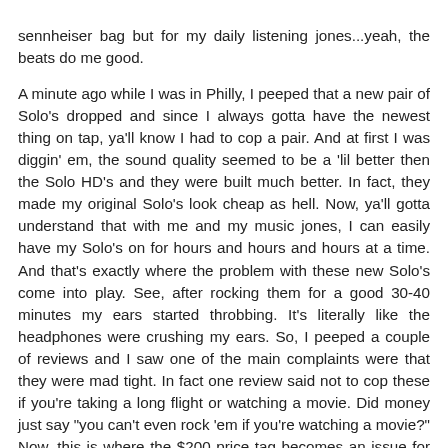sennheiser bag but for my daily listening jones...yeah, the beats do me good.

A minute ago while I was in Philly, I peeped that a new pair of Solo's dropped and since I always gotta have the newest thing on tap, ya'll know I had to cop a pair. And at first I was diggin' em, the sound quality seemed to be a 'lil better then the Solo HD's and they were built much better. In fact, they made my original Solo's look cheap as hell. Now, ya'll gotta understand that with me and my music jones, I can easily have my Solo's on for hours and hours and hours at a time. And that's exactly where the problem with these new Solo's come into play. See, after rocking them for a good 30-40 minutes my ears started throbbing. It's literally like the headphones were crushing my ears. So, I peeped a couple of reviews and I saw one of the main complaints were that they were mad tight. In fact one review said not to cop these if you're taking a long flight or watching a movie. Did money just say "you can't even rock 'em if you're watching a movie?" Now, this is where the $200 price tag becomes an issue for me. Cause if I cop a pair of J's for $200, not only should they be fly but more importantly they're damn sure